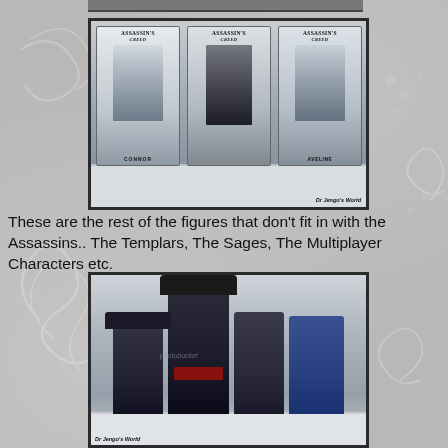[Figure (photo): Three Assassin's Creed action figures in packaging on a store shelf, labeled Connor, and Aveline]
These are the rest of the figures that don't fit in with the Assassins.. The Templars, The Sages, The Multiplayer Characters etc.
[Figure (photo): Group of Assassin's Creed pirate-themed action figures posed together on a white shelf surface, watermark 'Dr Jengo's World']